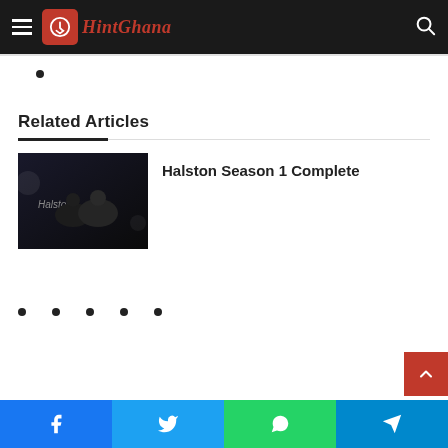HintGhana
•
Related Articles
[Figure (photo): Thumbnail image for Halston Season 1 Complete article — dark scene with people in a car, sunglasses, moody lighting]
Halston Season 1 Complete
• • • • •
Facebook | Twitter | WhatsApp | Telegram